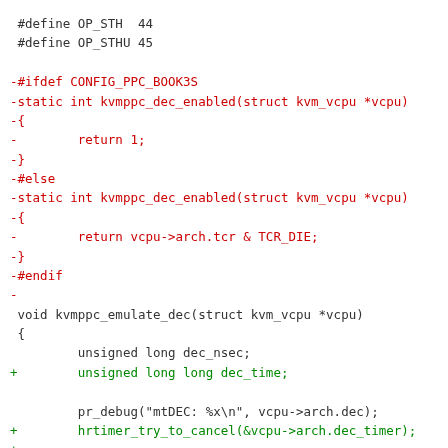#define OP_STH  44
#define OP_STHU 45

-#ifdef CONFIG_PPC_BOOK3S
-static int kvmppc_dec_enabled(struct kvm_vcpu *vcpu)
-{
-        return 1;
-}
-#else
-static int kvmppc_dec_enabled(struct kvm_vcpu *vcpu)
-{
-        return vcpu->arch.tcr & TCR_DIE;
-}
-#endif
-
 void kvmppc_emulate_dec(struct kvm_vcpu *vcpu)
 {
         unsigned long dec_nsec;
+        unsigned long long dec_time;

         pr_debug("mtDEC: %x\n", vcpu->arch.dec);
+        hrtimer_try_to_cancel(&vcpu->arch.dec_timer);
+
 #ifdef CONFIG_PPC_BOOK3S
         /* mtdec lowers the interrupt line when positive. */